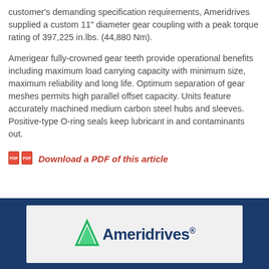customer's demanding specification requirements, Ameridrives supplied a custom 11" diameter gear coupling with a peak torque rating of 397,225 in.lbs. (44,880 Nm).
Amerigear fully-crowned gear teeth provide operational benefits including maximum load carrying capacity with minimum size, maximum reliability and long life. Optimum separation of gear meshes permits high parallel offset capacity. Units feature accurately machined medium carbon steel hubs and sleeves. Positive-type O-ring seals keep lubricant in and contaminants out.
Download a PDF of this article
[Figure (logo): Ameridrives logo with green triangle/arrow icon and blue text on light gray background, displayed in dark blue footer bar]